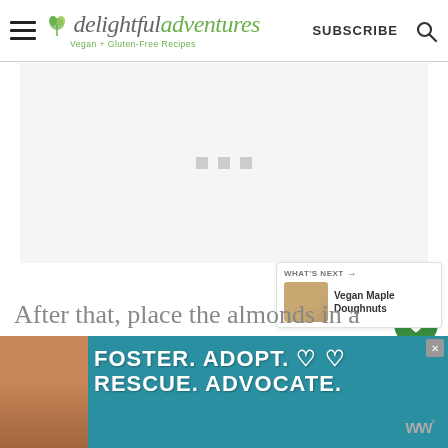delightful adventures Vegan + Gluten-Free Recipes | SUBSCRIBE
[Figure (other): Advertisement placeholder area with three small gray squares centered]
[Figure (other): Green circular heart/save button on right side]
[Figure (other): White circular share button with share icon on right side]
[Figure (other): What's Next panel showing Vegan Maple Doughnuts with thumbnail]
After that, place the almonds in a
[Figure (other): Advertisement banner: FOSTER. ADOPT. RESCUE. ADVOCATE. with dog image on teal background]